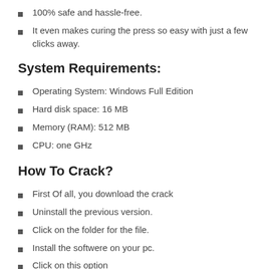100% safe and hassle-free.
It even makes curing the press so easy with just a few clicks away.
System Requirements:
Operating System: Windows Full Edition
Hard disk space: 16 MB
Memory (RAM): 512 MB
CPU: one GHz
How To Crack?
First Of all, you download the crack
Uninstall the previous version.
Click on the folder for the file.
Install the softwere on your pc.
Click on this option